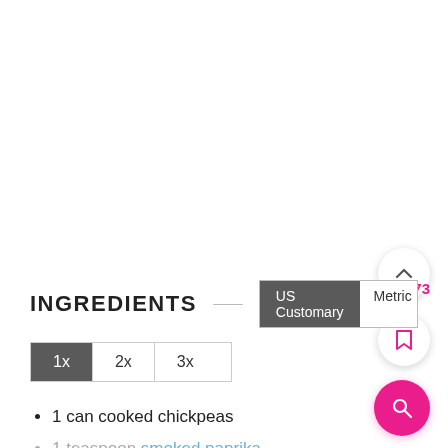INGREDIENTS
1 can cooked chickpeas
1 teaspoon smoked paprika
½ teaspoon ground sea salt